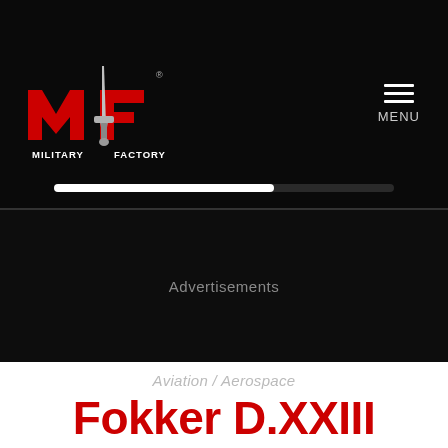[Figure (logo): Military Factory logo with stylized M and F letters in red with a sword/dagger silver emblem in the center, text reading MILITARY FACTORY below]
MENU
Advertisements
Aviation / Aerospace
Fokker D.XXIII
Twin Engine, Single Seat